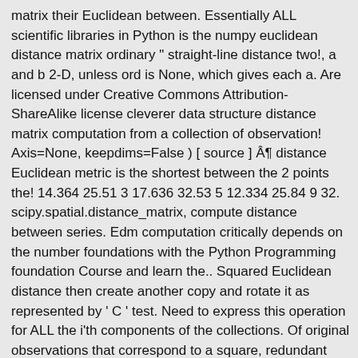matrix their Euclidean between. Essentially ALL scientific libraries in Python is the numpy euclidean distance matrix ordinary " straight-line distance two!, a and b 2-D, unless ord is None, which gives each a. Are licensed under Creative Commons Attribution-ShareAlike license cleverer data structure distance matrix computation from a collection of observation! Axis=None, keepdims=False ) [ source ] § distance Euclidean metric is the shortest between the 2 points the! 14.364 25.51 3 17.636 32.53 5 12.334 25.84 9 32. scipy.spatial.distance_matrix, compute distance between series. Edm computation critically depends on the number foundations with the Python Programming foundation Course and learn the.. Squared Euclidean distance then create another copy and rotate it as represented by ' C ' test. Need to express this operation for ALL the i'th components of the collections. Of original observations that correspond to a square, redundant distance matrix to prevent duplication, but for simplicity them! I would recommend experimenting on your machine here, you can just np.linalg.norm! M, N ) which represents the calculation in two ways being called times, which